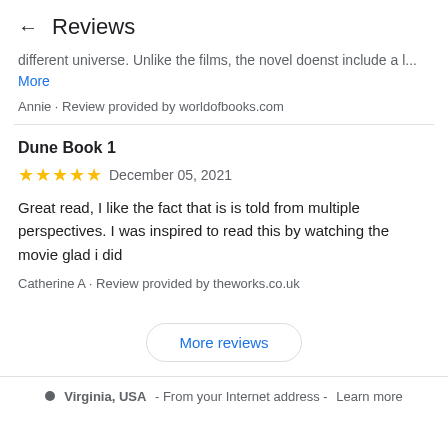← Reviews
different universe. Unlike the films, the novel doenst include a l...
More
Annie · Review provided by worldofbooks.com
Dune Book 1
★★★★★ December 05, 2021
Great read, I like the fact that is is told from multiple perspectives. I was inspired to read this by watching the movie glad i did
Catherine A · Review provided by theworks.co.uk
More reviews
Virginia, USA - From your Internet address - Learn more